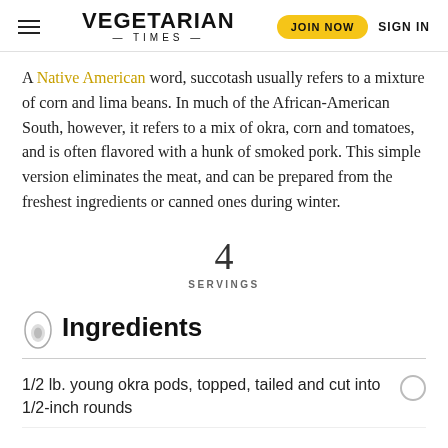VEGETARIAN TIMES | JOIN NOW | SIGN IN
A Native American word, succotash usually refers to a mixture of corn and lima beans. In much of the African-American South, however, it refers to a mix of okra, corn and tomatoes, and is often flavored with a hunk of smoked pork. This simple version eliminates the meat, and can be prepared from the freshest ingredients or canned ones during winter.
4
SERVINGS
Ingredients
1/2 lb. young okra pods, topped, tailed and cut into 1/2-inch rounds